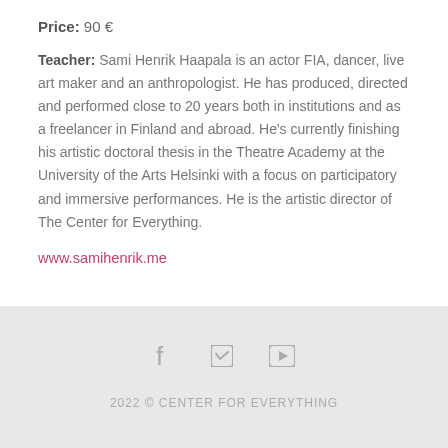Price: 90 €
Teacher: Sami Henrik Haapala is an actor FIA, dancer, live art maker and an anthropologist. He has produced, directed and performed close to 20 years both in institutions and as a freelancer in Finland and abroad. He's currently finishing his artistic doctoral thesis in the Theatre Academy at the University of the Arts Helsinki with a focus on participatory and immersive performances. He is the artistic director of The Center for Everything.
www.samihenrik.me
2022 © CENTER FOR EVERYTHING